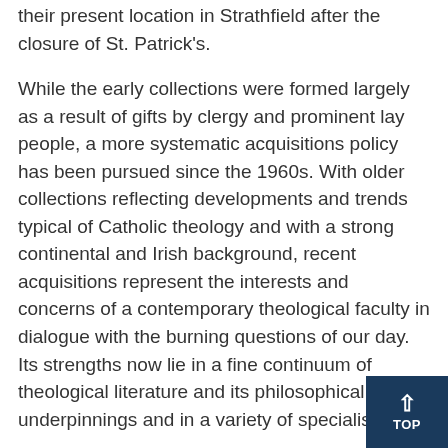their present location in Strathfield after the closure of St. Patrick's.
While the early collections were formed largely as a result of gifts by clergy and prominent lay people, a more systematic acquisitions policy has been pursued since the 1960s. With older collections reflecting developments and trends typical of Catholic theology and with a strong continental and Irish background, recent acquisitions represent the interests and concerns of a contemporary theological faculty in dialogue with the burning questions of our day. Its strengths now lie in a fine continuum of theological literature and its philosophical underpinnings and in a variety of specialisations.